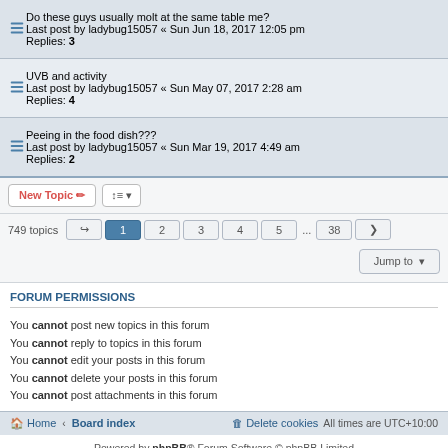Do these guys usually molt at the same table me? Last post by ladybug15057 « Sun Jun 18, 2017 12:05 pm Replies: 3
UVB and activity Last post by ladybug15057 « Sun May 07, 2017 2:28 am Replies: 4
Peeing in the food dish??? Last post by ladybug15057 « Sun Mar 19, 2017 4:49 am Replies: 2
New Topic | sort button | 749 topics | pagination: 1 2 3 4 5 ... 38 > | Jump to
FORUM PERMISSIONS
You cannot post new topics in this forum
You cannot reply to topics in this forum
You cannot edit your posts in this forum
You cannot delete your posts in this forum
You cannot post attachments in this forum
Home · Board index | Delete cookies | All times are UTC+10:00
Powered by phpBB® Forum Software © phpBB Limited
Privacy | Terms